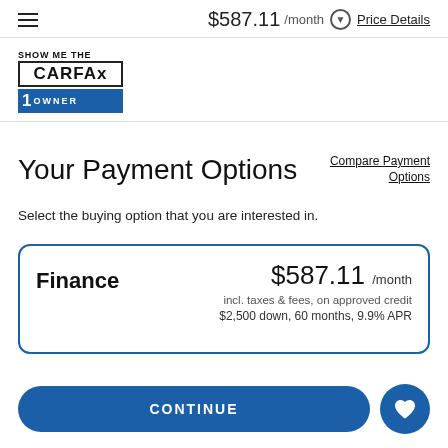$587.11 /month Price Details
[Figure (logo): CARFAX Show Me The 1 Owner logo]
Your Payment Options
Compare Payment Options
Select the buying option that you are interested in.
Finance $587.11 /month incl. taxes & fees, on approved credit $2,500 down, 60 months, 9.9% APR
CONTINUE